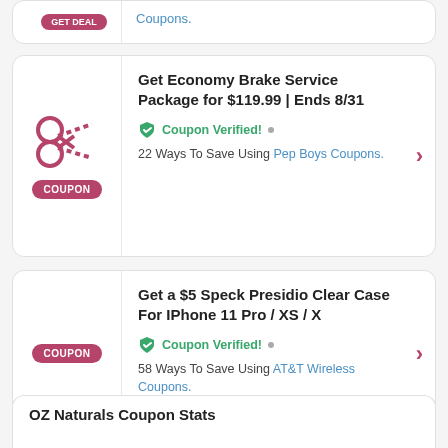[Figure (other): Partial coupon card at top showing a link 'Coupons.']
[Figure (other): Coupon card with scissors icon and COUPON badge]
Get Economy Brake Service Package for $119.99 | Ends 8/31
Coupon Verified! • 22 Ways To Save Using Pep Boys Coupons.
[Figure (other): Coupon card with COUPON badge, no scissors]
Get a $5 Speck Presidio Clear Case For IPhone 11 Pro / XS / X
Coupon Verified! • 58 Ways To Save Using AT&T Wireless Coupons.
OZ Naturals Coupon Stats